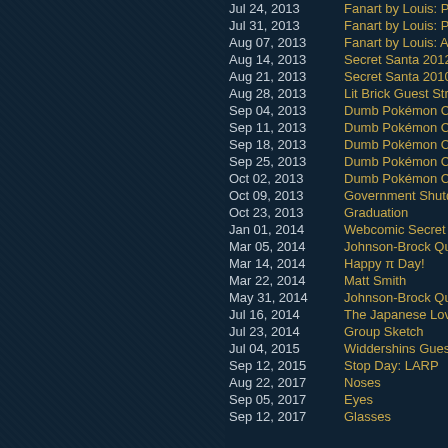Jul 24, 2013 — Fanart by Louis: Pe...
Jul 31, 2013 — Fanart by Louis: Pe...
Aug 07, 2013 — Fanart by Louis: A B...
Aug 14, 2013 — Secret Santa 2012
Aug 21, 2013 — Secret Santa 2010
Aug 28, 2013 — Lit Brick Guest Strip...
Sep 04, 2013 — Dumb Pokémon Co...
Sep 11, 2013 — Dumb Pokémon Co...
Sep 18, 2013 — Dumb Pokémon Co...
Sep 25, 2013 — Dumb Pokémon Co...
Oct 02, 2013 — Dumb Pokémon Co...
Oct 09, 2013 — Government Shutdo...
Oct 23, 2013 — Graduation
Jan 01, 2014 — Webcomic Secret S...
Mar 05, 2014 — Johnson-Brock Quiz...
Mar 14, 2014 — Happy π Day!
Mar 22, 2014 — Matt Smith
May 31, 2014 — Johnson-Brock Quiz...
Jul 16, 2014 — The Japanese Love...
Jul 23, 2014 — Group Sketch
Jul 04, 2015 — Widdershins Guest...
Sep 12, 2015 — Stop Day: LARP
Aug 22, 2017 — Noses
Sep 05, 2017 — Eyes
Sep 12, 2017 — Glasses